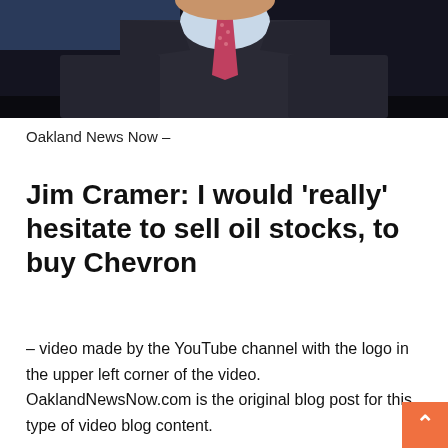[Figure (photo): Photo of a man in a dark suit with a pink/red patterned tie, light blue shirt, set against a dark background. Upper portion of torso and face visible.]
Oakland News Now –
Jim Cramer: I would 'really' hesitate to sell oil stocks, to buy Chevron
– video made by the YouTube channel with the logo in the upper left corner of the video. OaklandNewsNow.com is the original blog post for this type of video blog content.